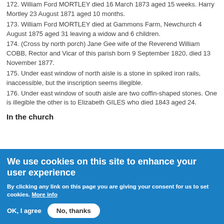172. William Ford MORTLEY died 16 March 1873 aged 15 weeks. Harry Mortley 23 August 1871 aged 10 months.
173. William Ford MORTLEY died at Gammons Farm, Newchurch 4 August 1875 aged 31 leaving a widow and 6 children.
174. (Cross by north porch) Jane Gee wife of the Reverend William COBB, Rector and Vicar of this parish born 9 September 1820, died 13 November 1877.
175. Under east window of north aisle is a stone in spiked iron rails, inaccessible, but the inscription seems illegible.
176. Under east window of south aisle are two coffin-shaped stones. One is illegible the other is to Elizabeth GILES who died 1843 aged 24.
In the church
We use cookies on this site to enhance your user experience
By clicking any link on this page you are giving your consent for us to set cookies. More info
OK, I agree
No, thanks